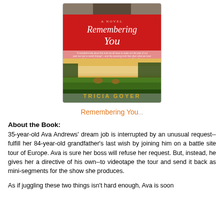[Figure (illustration): Book cover of 'Remembering You' by Tricia Goyer. Red banner at top with cursive title text 'Remembering You' and 'A Novel' above it. Below the banner is a landscape scene with misty fields, trees, and golden sky. Author name 'TRICIA GOYER' in gold text at the bottom. A figure is partially visible at the very top.]
Remembering You...
About the Book:
35-year-old Ava Andrews' dream job is interrupted by an unusual request--fulfill her 84-year-old grandfather's last wish by joining him on a battle site tour of Europe. Ava is sure her boss will refuse her request. But, instead, he gives her a directive of his own--to videotape the tour and send it back as mini-segments for the show she produces.
As if juggling these two things isn't hard enough, Ava is soon